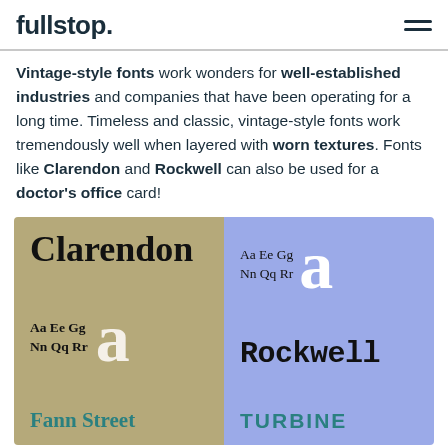fullstop.
Vintage-style fonts work wonders for well-established industries and companies that have been operating for a long time. Timeless and classic, vintage-style fonts work tremendously well when layered with worn textures. Fonts like Clarendon and Rockwell can also be used for a doctor's office card!
[Figure (illustration): Font showcase panel split into two colored halves. Left panel (tan/khaki background): Clarendon font name in large bold serif, sample letters 'Aa Ee Gg Nn Qq Rr' with large decorative 'a', and 'Fann Street' in teal. Right panel (periwinkle/lavender background): sample letters 'Aa Ee Gg Nn Qq Rr' with large white 'a', 'Rockwell' font name in bold slab serif, and 'TURBINE' in teal uppercase.]